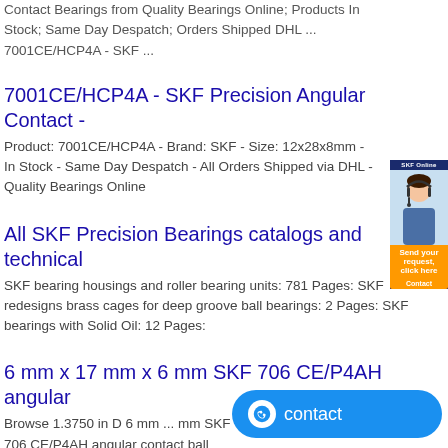Contact Bearings from Quality Bearings Online; Products In Stock; Same Day Despatch; Orders Shipped DHL ... 7001CE/HCP4A - SKF ...
7001CE/HCP4A - SKF Precision Angular Contact -
Product: 7001CE/HCP4A - Brand: SKF - Size: 12x28x8mm - In Stock - Same Day Despatch - All Orders Shipped via DHL - Quality Bearings Online
All SKF Precision Bearings catalogs and technical
SKF bearing housings and roller bearing units: 781 Pages: SKF redesigns brass cages for deep groove ball bearings: 2 Pages: SKF bearings with Solid Oil: 12 Pages:
6 mm x 17 mm x 6 mm SKF 706 CE/P4AH angular
Browse 1.3750 in D 6 mm ... mm SKF 706 CE/P4AH angular contact ball